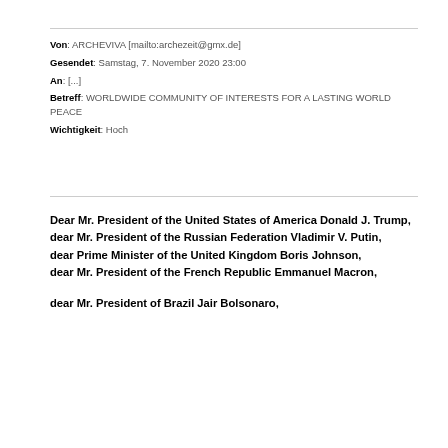Von: ARCHEVIVA [mailto:archezeit@gmx.de]
Gesendet: Samstag, 7. November 2020 23:00
An: [...]
Betreff: WORLDWIDE COMMUNITY OF INTERESTS FOR A LASTING WORLD PEACE
Wichtigkeit: Hoch
Dear Mr. President of the United States of America Donald J. Trump,
dear Mr. President of the Russian Federation Vladimir V. Putin,
dear Prime Minister of the United Kingdom Boris Johnson,
dear Mr. President of the French Republic Emmanuel Macron,

dear Mr. President of Brazil Jair Bolsonaro,